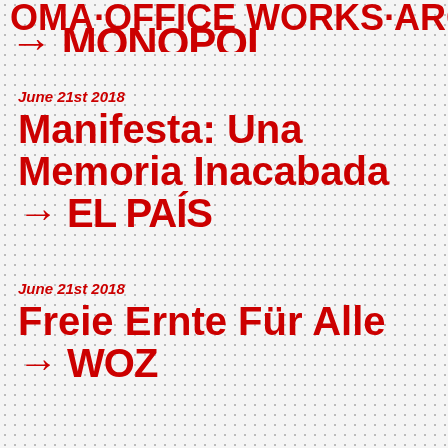OMA·OFFICE WORKS·ARCH → MONOPOL
June 21st 2018
Manifesta: Una Memoria Inacabada → EL PAÍS
June 21st 2018
Freie Ernte Für Alle → WOZ